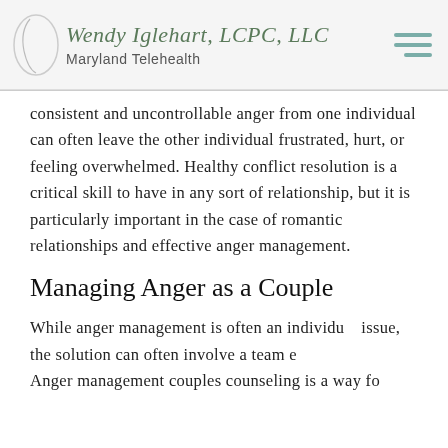Wendy Iglehart, LCPC, LLC — Maryland Telehealth
consistent and uncontrollable anger from one individual can often leave the other individual frustrated, hurt, or feeling overwhelmed. Healthy conflict resolution is a critical skill to have in any sort of relationship, but it is particularly important in the case of romantic relationships and effective anger management.
Managing Anger as a Couple
While anger management is often an individual issue, the solution can often involve a team e... Anger management couples counseling is a way for